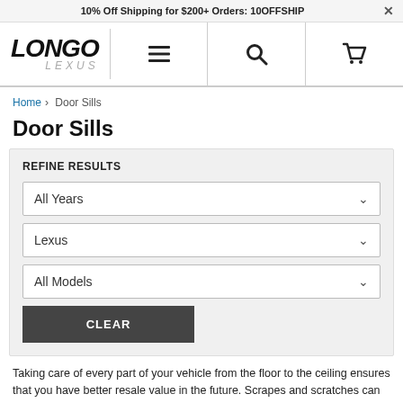10% Off Shipping for $200+ Orders: 10OFFSHIP
[Figure (logo): Longo Lexus logo with menu, search, and cart icons]
Home > Door Sills
Door Sills
REFINE RESULTS
All Years
Lexus
All Models
CLEAR
Taking care of every part of your vehicle from the floor to the ceiling ensures that you have better resale value in the future. Scrapes and scratches can occur where you get in and out of your vehicle - other side door scrapes and sills out. If you want to keep this out of future...